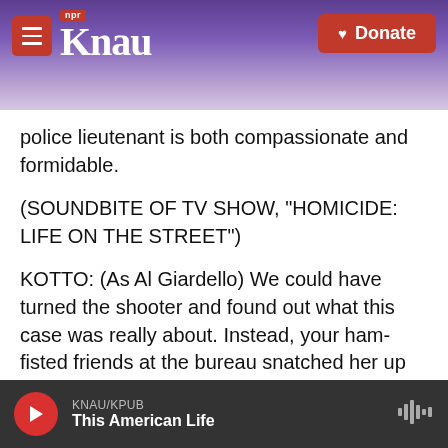KNAU NPR / Donate
police lieutenant is both compassionate and formidable.
(SOUNDBITE OF TV SHOW, "HOMICIDE: LIFE ON THE STREET")
KOTTO: (As Al Giardello) We could have turned the shooter and found out what this case was really about. Instead, your ham-fisted friends at the bureau snatched her up and then got her killed.
BLAIR: Kotto earned four NAACP Image Award nominations for the NBC series. Kotto was born in
KNAU/KPUB — This American Life